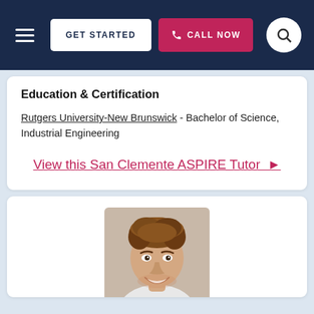GET STARTED  CALL NOW
Education & Certification
Rutgers University-New Brunswick - Bachelor of Science, Industrial Engineering
View this San Clemente ASPIRE Tutor ▶
[Figure (photo): Headshot photo of a young man with curly brown hair, smiling, in a white background setting]